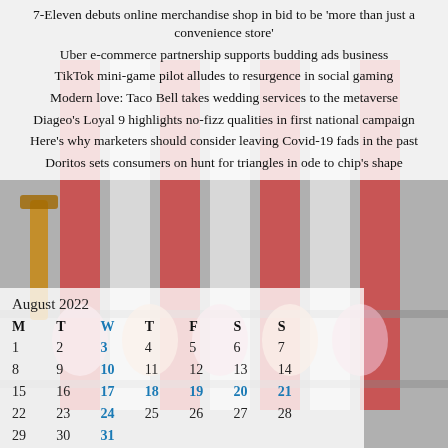7-Eleven debuts online merchandise shop in bid to be 'more than just a convenience store'
Uber e-commerce partnership supports budding ads business
TikTok mini-game pilot alludes to resurgence in social gaming
Modern love: Taco Bell takes wedding services to the metaverse
Diageo's Loyal 9 highlights no-fizz qualities in first national campaign
Here's why marketers should consider leaving Covid-19 fads in the past
Doritos sets consumers on hunt for triangles in ode to chip's shape
[Figure (photo): Background photo of 7-Eleven store cups and merchandise on shelves with red and white stripes]
| M | T | W | T | F | S | S |
| --- | --- | --- | --- | --- | --- | --- |
| 1 | 2 | 3 | 4 | 5 | 6 | 7 |
| 8 | 9 | 10 | 11 | 12 | 13 | 14 |
| 15 | 16 | 17 | 18 | 19 | 20 | 21 |
| 22 | 23 | 24 | 25 | 26 | 27 | 28 |
| 29 | 30 | 31 |  |  |  |  |